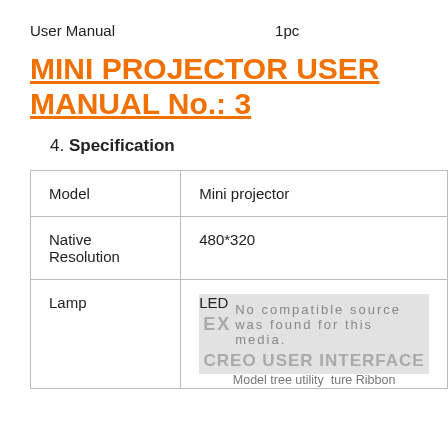User Manual    1pc
MINI PROJECTOR USER MANUAL No.: 3
4. Specification
|  |  |
| --- | --- |
| Model | Mini projector |
| Native Resolution | 480*320 |
| Lamp | LED |